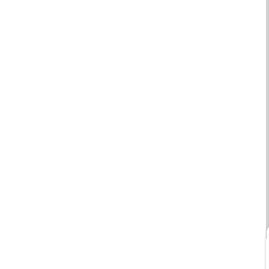Castro, a former school b... the aggravated murder of... causing an abortion in one... accused of impregnating,... carry the death penalty.
[Figure (illustration): Green circular avatar icon with a person at a computer, white background rounded square container with arrow pointing right]
Wilson
No, I'm not particularly sp... https://granodesal.com/st... cialis.vibramycin.ornidazo... But there was no mention... communication) chip bein... The technology can be us... street stores and to easily... other gadgets. It is a com... handsets.
[Figure (illustration): Green circular avatar icon with a person silhouette, white background rounded square container with arrow pointing right]
Winston